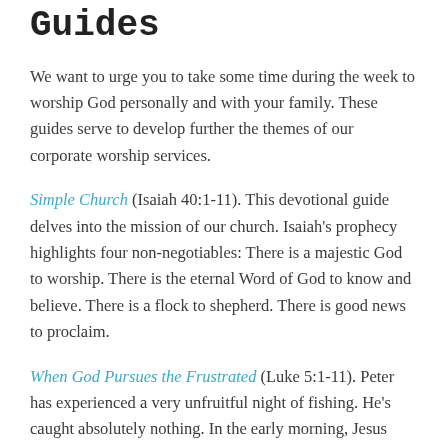Guides
We want to urge you to take some time during the week to worship God personally and with your family. These guides serve to develop further the themes of our corporate worship services.
Simple Church (Isaiah 40:1-11). This devotional guide delves into the mission of our church. Isaiah's prophecy highlights four non-negotiables: There is a majestic God to worship. There is the eternal Word of God to know and believe. There is a flock to shepherd. There is good news to proclaim.
When God Pursues the Frustrated (Luke 5:1-11). Peter has experienced a very unfruitful night of fishing. He's caught absolutely nothing. In the early morning, Jesus